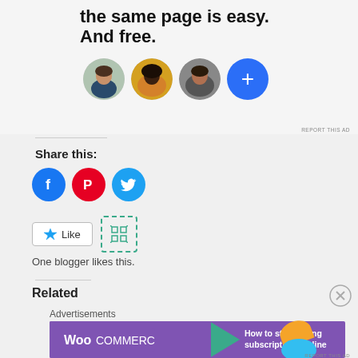[Figure (screenshot): Advertisement banner with headline 'the same page is easy. And free.' with three circular avatar photos and a blue plus button]
REPORT THIS AD
Share this:
[Figure (infographic): Social share buttons: Facebook (blue circle with F), Pinterest (red circle with P), Twitter (light blue circle with bird)]
[Figure (screenshot): Like button with star icon and a grid/widget icon next to it]
One blogger likes this.
Related
Advertisements
[Figure (screenshot): WooCommerce advertisement banner: 'How to start selling subscriptions online']